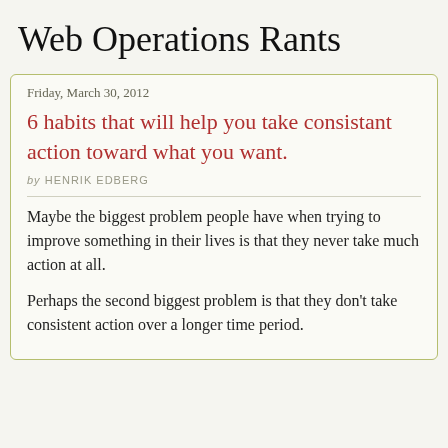Web Operations Rants
Friday, March 30, 2012
6 habits that will help you take consistant action toward what you want.
by HENRIK EDBERG
Maybe the biggest problem people have when trying to improve something in their lives is that they never take much action at all.
Perhaps the second biggest problem is that they don't take consistent action over a longer time period.